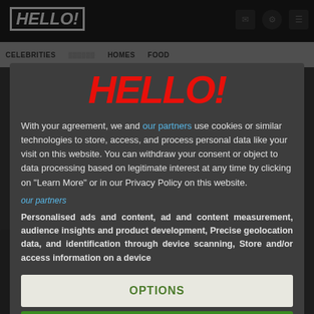[Figure (screenshot): Background of Hello! magazine website with header bar, logo, navigation menu (CELEBRITIES, HOMES, FOOD), and dark content area behind a consent modal overlay.]
HELLO!
With your agreement, we and our partners use cookies or similar technologies to store, access, and process personal data like your visit on this website. You can withdraw your consent or object to data processing based on legitimate interest at any time by clicking on "Learn More" or in our Privacy Policy on this website.
our partners
Personalised ads and content, ad and content measurement, audience insights and product development, Precise geolocation data, and identification through device scanning, Store and/or access information on a device
OPTIONS
I AGREE